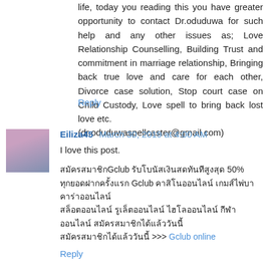life, today you reading this you have greater opportunity to contact Dr.oduduwa for such help and any other issues as; Love Relationship Counselling, Building Trust and commitment in marriage relationship, Bringing back true love and care for each other, Divorce case solution, Stop court case on Child Custody, Love spell to bring back lost love etc.
(dr.oduduwaspellcaster@gmail.com)
Reply
Eiliza45  March 30, 2019 at 4:00 AM
I love this post.
สมัครสมาชิกGclub รับโบนัสเงินสดทันทีสูงสุด 50% ทุกยอดฝากครั้งแรก Gclub คาสิโนออนไลน์ เกมส์ไพ่บาคาร่าออนไลน์ สล็อตออนไลน์ รูเล็ตออนไลน์ ไฮโลออนไลน์ กีฬาออนไลน์ สมัครสมาชิกได้แล้ววันนี้ >>> Gclub online
Reply